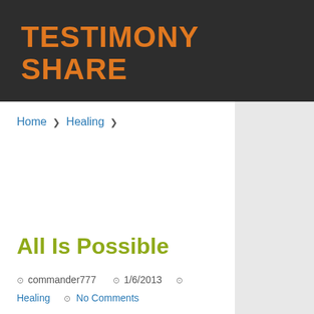TESTIMONY SHARE
Home ❯ Healing ❯
All Is Possible
⊙ commander777   ⊙ 1/6/2013   ⊙
Healing   ⊙ No Comments